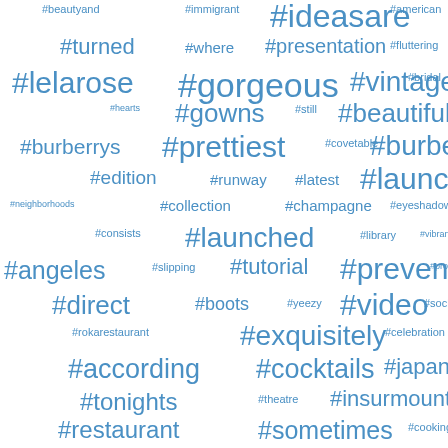[Figure (other): Word cloud of hashtags in various font sizes, all in blue color on white background. Hashtags include beauty, fashion, food, fitness topics.]